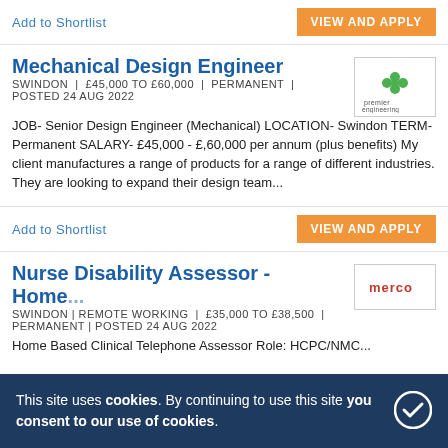Add to Shortlist
VIEW AND APPLY
Mechanical Design Engineer
SWINDON | £45,000 TO £60,000 | PERMANENT | POSTED 24 AUG 2022
[Figure (logo): Premier Engineering company logo - green clover/flower icon with 'premier engineering' text below]
JOB- Senior Design Engineer (Mechanical) LOCATION- Swindon TERM- Permanent SALARY- £45,000 - £,60,000 per annum (plus benefits) My client manufactures a range of products for a range of different industries. They are looking to expand their design team...
Add to Shortlist
VIEW AND APPLY
Nurse Disability Assessor - Home...
[Figure (logo): Merco company logo]
SWINDON | REMOTE WORKING | £35,000 TO £38,500 | PERMANENT | POSTED 24 AUG 2022
Home Based Clinical Telephone Assessor Role: HCPC/NMC...
This site uses cookies. By continuing to use this site you consent to our use of cookies.